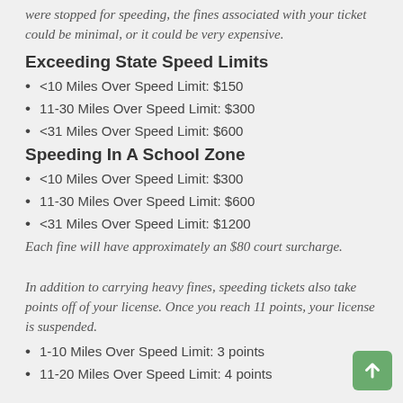were stopped for speeding, the fines associated with your ticket could be minimal, or it could be very expensive.
Exceeding State Speed Limits
<10 Miles Over Speed Limit: $150
11-30 Miles Over Speed Limit: $300
<31 Miles Over Speed Limit: $600
Speeding In A School Zone
<10 Miles Over Speed Limit: $300
11-30 Miles Over Speed Limit: $600
<31 Miles Over Speed Limit: $1200
Each fine will have approximately an $80 court surcharge.
In addition to carrying heavy fines, speeding tickets also take points off of your license. Once you reach 11 points, your license is suspended.
1-10 Miles Over Speed Limit: 3 points
11-20 Miles Over Speed Limit: 4 points